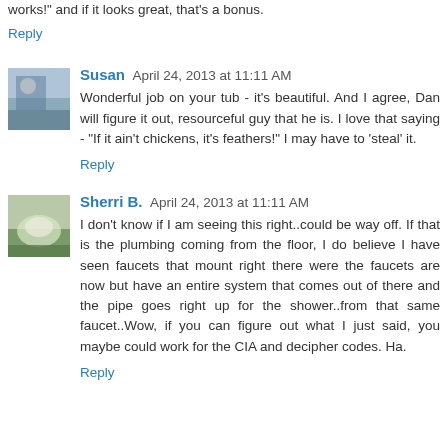works!" and if it looks great, that's a bonus.
Reply
Susan  April 24, 2013 at 11:11 AM
Wonderful job on your tub - it's beautiful. And I agree, Dan will figure it out, resourceful guy that he is. I love that saying - "If it ain't chickens, it's feathers!" I may have to 'steal' it.
Reply
Sherri B.  April 24, 2013 at 11:11 AM
I don't know if I am seeing this right..could be way off. If that is the plumbing coming from the floor, I do believe I have seen faucets that mount right there were the faucets are now but have an entire system that comes out of there and the pipe goes right up for the shower..from that same faucet..Wow, if you can figure out what I just said, you maybe could work for the CIA and decipher codes. Ha.
Reply